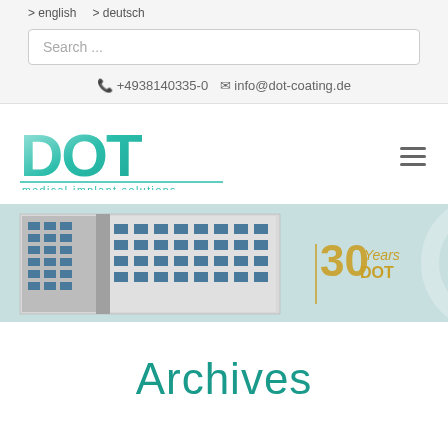> english  > deutsch
Search ...
📞 +4938140335-0  ✉ info@dot-coating.de
[Figure (logo): DOT medical implant solutions logo with teal/cyan gradient lettering]
[Figure (photo): Banner image showing DOT GmbH building exterior on left, with faint implant/coating imagery in center, and gold '30 Years DOT' anniversary text on right]
Archives